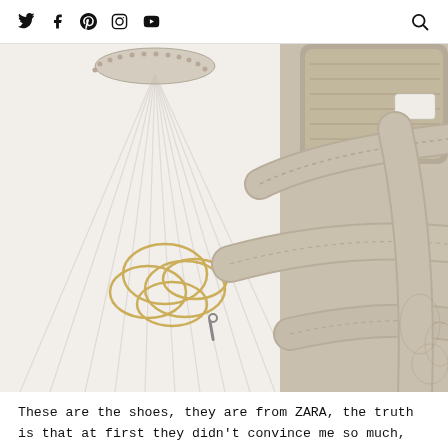Twitter Facebook Pinterest Instagram YouTube | Search
[Figure (photo): Close-up flat lay photo of a white pleated dress, gold hoop earrings, and beige/cream woven strap sandals from ZARA arranged on a decorative surface.]
These are the shoes, they are from ZARA, the truth is that at first they didn't convince me so much, but my mom made me try them on with